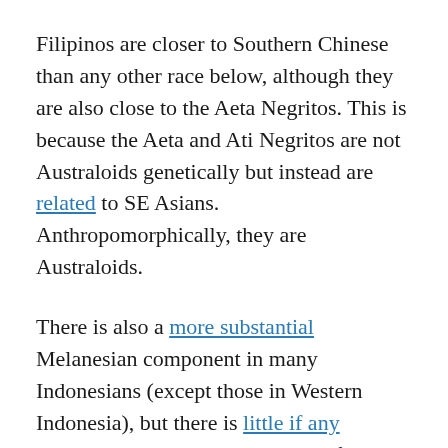Filipinos are closer to Southern Chinese than any other race below, although they are also close to the Aeta Negritos. This is because the Aeta and Ati Negritos are not Australoids genetically but instead are related to SE Asians. Anthropomorphically, they are Australoids.
There is also a more substantial Melanesian component in many Indonesians (except those in Western Indonesia), but there is little if any Australoid, or even Melanesian influence in existing SE Asian populations. It is common amongst Internet anthropologists to lump Melanesians in with Australoids. This is the case anthropomorphically, but not genetically.